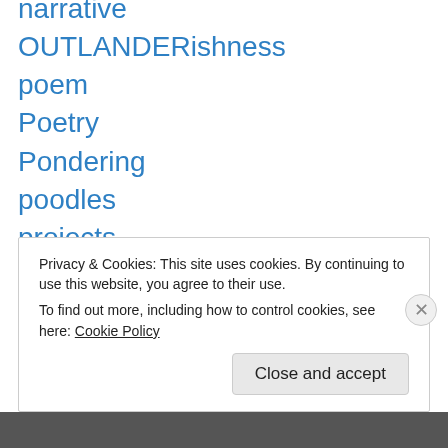narrative
OUTLANDERishness
poem
Poetry
Pondering
poodles
projects
Quotations
Reading
Recipes
Rotary
Privacy & Cookies: This site uses cookies. By continuing to use this website, you agree to their use.
To find out more, including how to control cookies, see here: Cookie Policy
Close and accept